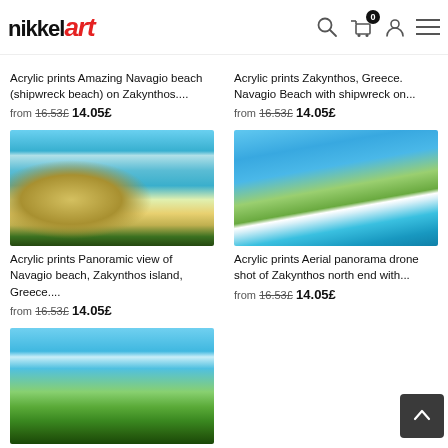nikkel art — navigation header with search, cart (0), account, menu icons
Acrylic prints Amazing Navagio beach (shipwreck beach) on Zakynthos.... from 16.53£ 14.05£
Acrylic prints Zakynthos, Greece. Navagio Beach with shipwreck on... from 16.53£ 14.05£
[Figure (photo): Panoramic view of Navagio beach from above with turquoise water and white cliffs]
Acrylic prints Panoramic view of Navagio beach, Zakynthos island, Greece.... from 16.53£ 14.05£
[Figure (photo): Aerial drone photo of Zakynthos north end showing cliffs and blue sea]
Acrylic prints Aerial panorama drone shot of Zakynthos north end with... from 16.53£ 14.05£
[Figure (photo): Bottom partial photo of green island with blue sky]